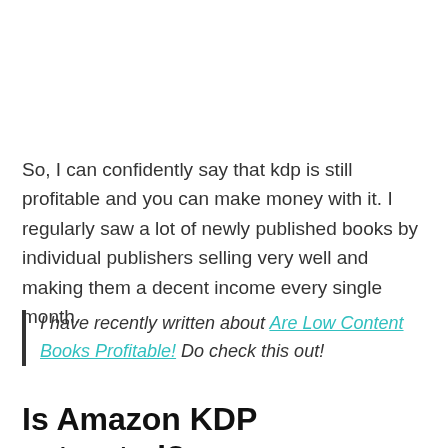So, I can confidently say that kdp is still profitable and you can make money with it. I regularly saw a lot of newly published books by individual publishers selling very well and making them a decent income every single month.
I have recently written about Are Low Content Books Profitable! Do check this out!
Is Amazon KDP saturated?